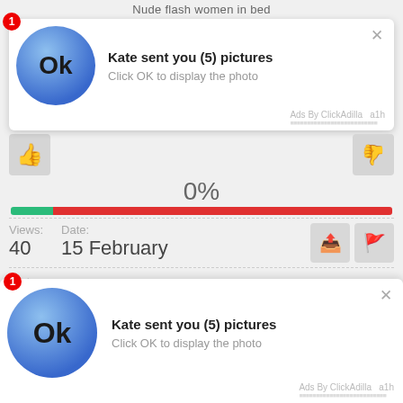Nude flash women in bed
[Figure (screenshot): Ad notification popup: blue circle with 'Ok' text, title 'Kate sent you (5) pictures', subtitle 'Click OK to display the photo', 'Ads By ClickAdilla a1h' footer, red notification badge '1', close X button]
[Figure (infographic): Thumbs up and thumbs down icons on left and right sides]
0%
[Figure (infographic): Progress bar: small green portion on left (~12%), large red portion on right (~88%)]
Views: 40   Date: 15 February
Categorys:  ---
Comments (0)
Comment on
[Figure (screenshot): Second ad notification popup: blue circle with 'Ok' text, title 'Kate sent you (5) pictures', subtitle 'Click OK to display the photo', 'Ads By ClickAdilla a1h' footer, red notification badge '1', close X button]